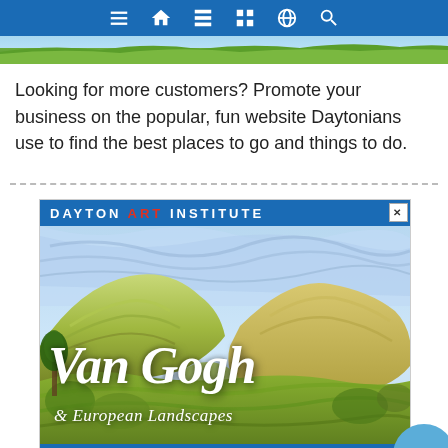Navigation bar with menu, home, list, grid, globe, and search icons
[Figure (photo): Green landscape/grass strip photo]
Looking for more customers? Promote your business on the popular, fun website Daytonians use to find the best places to go and things to do.
[Figure (illustration): Advertisement for Dayton Art Institute: Van Gogh & European Landscapes exhibition. Final Days - Closing Sept. 4. Features Van Gogh painting of green hills/landscape with cursive 'Van Gogh' and '& European Landscapes' text overlay.]